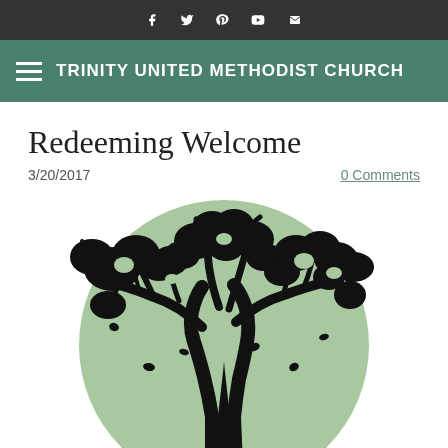f  y  p  YouTube  mail
TRINITY UNITED METHODIST CHURCH
Redeeming Welcome
3/20/2017
0 Comments
[Figure (illustration): A circular green background with a black silhouette illustration of a large oak tree with sprawling branches and exposed roots.]